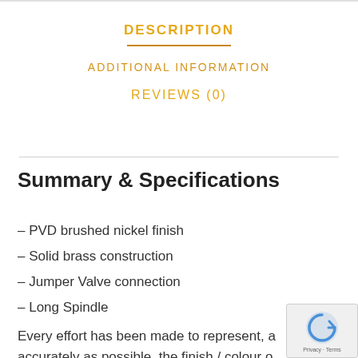DESCRIPTION
ADDITIONAL INFORMATION
REVIEWS (0)
Summary & Specifications
– PVD brushed nickel finish
– Solid brass construction
– Jumper Valve connection
– Long Spindle
Every effort has been made to represent, as accurately as possible, the finish / colour o…